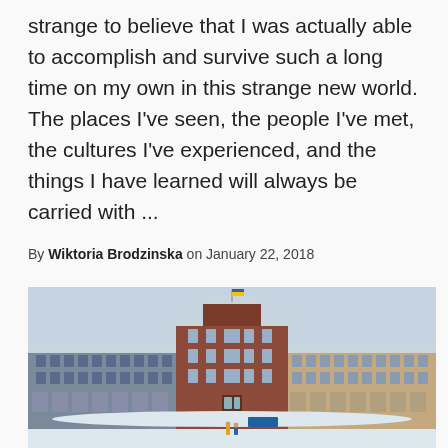strange to believe that I was actually able to accomplish and survive such a long time on my own in this strange new world. The places I've seen, the people I've met, the cultures I've experienced, and the things I have learned will always be carried with ...
By Wiktoria Brodzinska on January 22, 2018
[Figure (photo): A large ornate European palace or government building photographed in winter. The building has a central tower with a flag, red-brown brick facade, arched colonnades on the wings, and snow covering the courtyard. Two small figures are visible standing in the snowy courtyard in front of the building. The sky is overcast and grey-blue.]